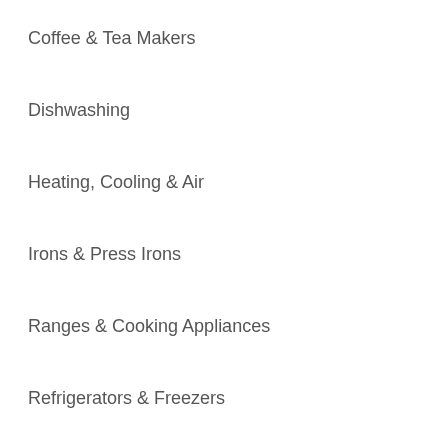Coffee & Tea Makers
Dishwashing
Heating, Cooling & Air
Irons & Press Irons
Ranges & Cooking Appliances
Refrigerators & Freezers